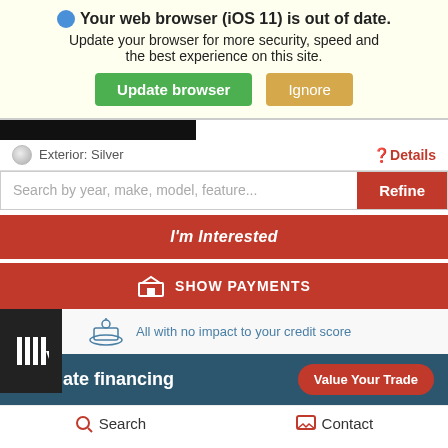Your web browser (iOS 11) is out of date. Update your browser for more security, speed and the best experience on this site.
[Figure (screenshot): Browser update warning banner with green 'Update browser' and tan 'Ignore' buttons]
Exterior: Silver
Details
Search by year, make, model, feature...
Refine
I'm Interested
SHOW PAYMENTS
All with no impact to your credit score
Estimate financing
Value Your Trade
Search
Contact